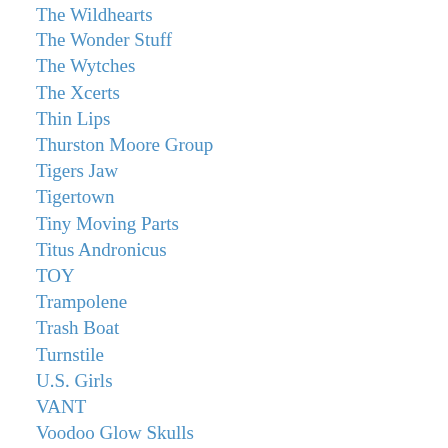The Wildhearts
The Wonder Stuff
The Wytches
The Xcerts
Thin Lips
Thurston Moore Group
Tigers Jaw
Tigertown
Tiny Moving Parts
Titus Andronicus
TOY
Trampolene
Trash Boat
Turnstile
U.S. Girls
VANT
Voodoo Glow Skulls
Wallflower
Washington Irving
Waxahatchee
We Are Scientists